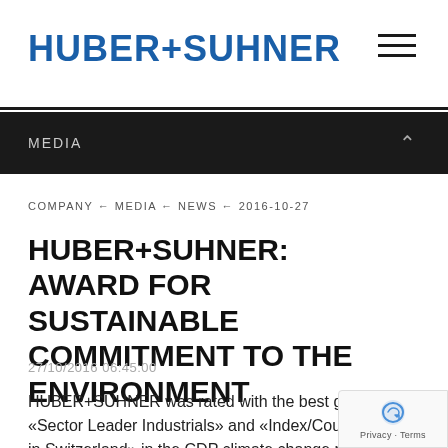HUBER+SUHNER
MEDIA
COMPANY ← MEDIA ← NEWS ← 2016-10-27
HUBER+SUHNER: AWARD FOR SUSTAINABLE COMMITMENT TO THE ENVIRONMENT
27/10/2016 06:45:00
HUBER+SUHNER was rated with the best grades for «Sector Leader Industrials» and «Index/Country Leader in Switzerland» in the CDP climate change report. At the award